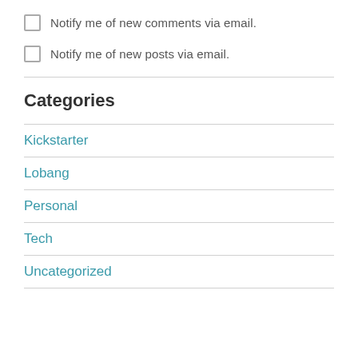Notify me of new comments via email.
Notify me of new posts via email.
Categories
Kickstarter
Lobang
Personal
Tech
Uncategorized